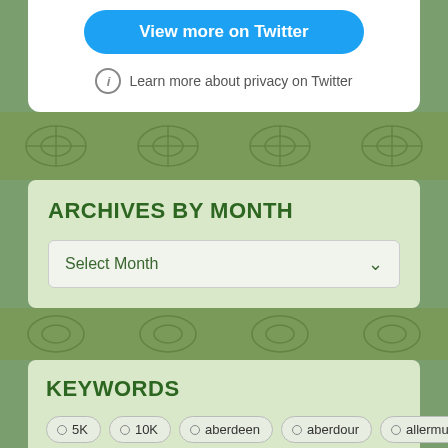[Figure (screenshot): Twitter widget with 'View more on Twitter' button and privacy notice]
ARCHIVES BY MONTH
Select Month
KEYWORDS
5K
10K
aberdeen
aberdour
allermuir hill
america
anniversary
anxiety
arbroath
arran
arthur's seat
arts & crafts
aunts and uncles
beer
bike
billingham